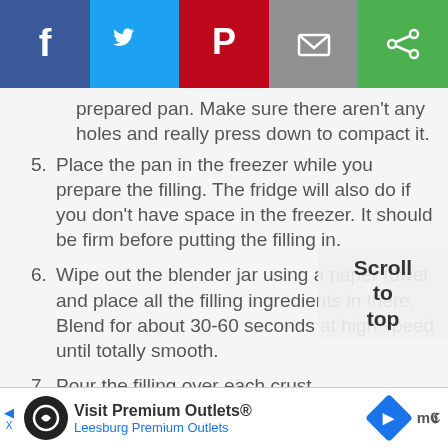[Figure (screenshot): Social share bar with Facebook, Twitter, Pinterest, Email, and Share buttons]
prepared pan. Make sure there aren't any holes and really press down to compact it.
5. Place the pan in the freezer while you prepare the filling. The fridge will also do if you don't have space in the freezer. It should be firm before putting the filling in.
6. Wipe out the blender jar using a paper towel and place all the filling ingredients in there. Blend for about 30-60 seconds at high speed until totally smooth.
7. Pour the filling over each crust
8. Refrigerate for about 4 hours or until firm. If you're in a hurry
[Figure (screenshot): Scroll to top overlay button]
[Figure (screenshot): Advertisement banner: Visit Premium Outlets - Leesburg Premium Outlets]